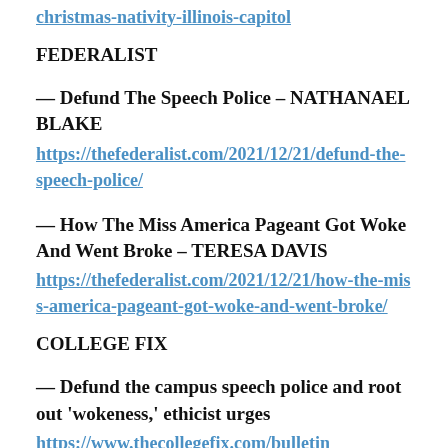christmas-nativity-illinois-capitol
FEDERALIST
— Defund The Speech Police – NATHANAEL BLAKE
https://thefederalist.com/2021/12/21/defund-the-speech-police/
— How The Miss America Pageant Got Woke And Went Broke – TERESA DAVIS
https://thefederalist.com/2021/12/21/how-the-miss-america-pageant-got-woke-and-went-broke/
COLLEGE FIX
— Defund the campus speech police and root out 'wokeness,' ethicist urges
https://www.thecollegefix.com/bulletin